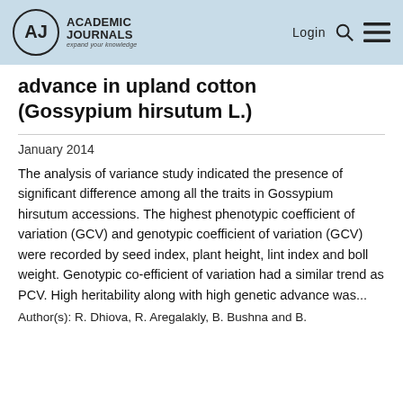Academic Journals — Login
advance in upland cotton (Gossypium hirsutum L.)
January 2014
The analysis of variance study indicated the presence of significant difference among all the traits in Gossypium hirsutum accessions. The highest phenotypic coefficient of variation (GCV) and genotypic coefficient of variation (GCV) were recorded by seed index, plant height, lint index and boll weight. Genotypic co-efficient of variation had a similar trend as PCV. High heritability along with high genetic advance was...
Author(s): R. Dhiova, R. Aregalakly, B. Bushna and B.